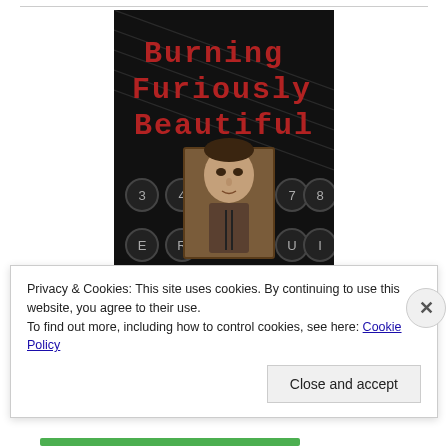[Figure (illustration): Book cover of 'Burning Furiously Beautiful' showing red typewriter-font title text over a dark background with typewriter keys, and a vintage sepia photograph of a young man in the center. Subtitle reads 'The True Story' at the bottom.]
Privacy & Cookies: This site uses cookies. By continuing to use this website, you agree to their use.
To find out more, including how to control cookies, see here: Cookie Policy
Close and accept